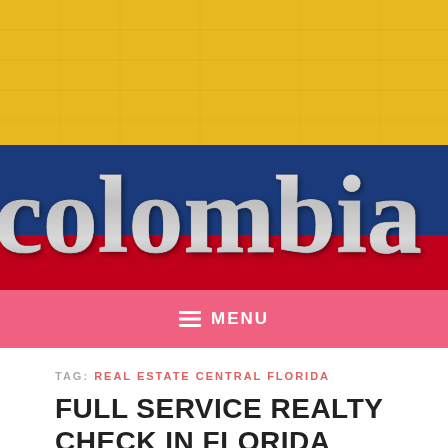[Figure (illustration): Colombian flag background (yellow, blue, red horizontal stripes) with large stylized silver/grey 'Colombia' text overlay]
≡ MENU
TAG: REAL ESTATE CENTRAL FLORIDA
FULL SERVICE REALTY CHECK IN FLORIDA
May 21, 2021
Knowing the present status of the real estate market in